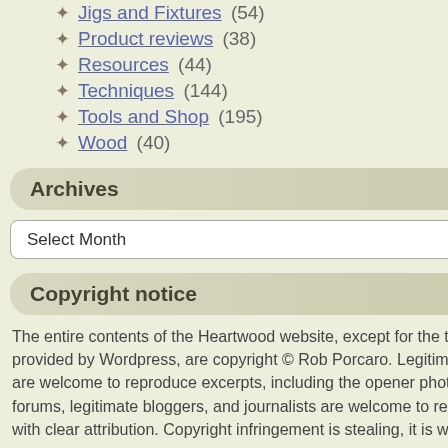Jigs and Fixtures (54)
Product reviews (38)
Resources (44)
Techniques (144)
Tools and Shop (195)
Wood (40)
Archives
Select Month
Copyright notice
The entire contents of the Heartwood website, except for the theme elements provided by Wordpress, are copyright © Rob Porcaro. Legitimate weblog aggregators are welcome to reproduce excerpts, including the opener photo, with the link. Online forums, legitimate bloggers, and journalists are welcome to reproduce brief excerpts with clear attribution. Copyright infringement is stealing, it is wrong, and it is a crime.
[Figure (logo): Red W logo at bottom of sidebar]
like yours. I actually fo
On a side note, I finally pointed out there is a le
« Tweaking the carcass for